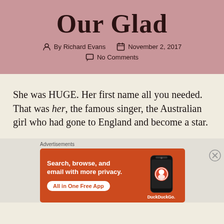Our Glad
By Richard Evans   November 2, 2017   No Comments
She was HUGE. Her first name all you needed. That was her, the famous singer, the Australian girl who had gone to England and become a star.
[Figure (infographic): DuckDuckGo advertisement banner with orange background showing text 'Search, browse, and email with more privacy. All in One Free App' with a phone image and DuckDuckGo logo]